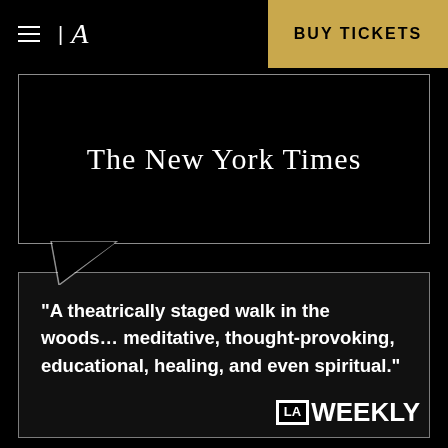[Figure (logo): Hamburger menu icon and letter A logo on black background]
[Figure (infographic): Gold 'BUY TICKETS' button in top right corner]
[Figure (logo): The New York Times masthead logo in blackletter font inside a speech bubble outline]
“A theatrically staged walk in the woods… meditative, thought-provoking, educational, healing, and even spiritual.”
[Figure (logo): LA Weekly logo: 'LA' in black box with white border, 'WEEKLY' in bold white text]